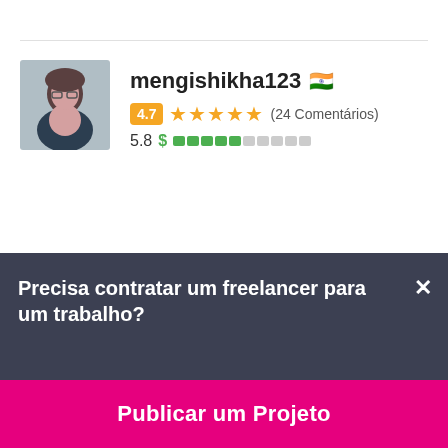[Figure (photo): Profile photo of mengishikha123, woman with dark hair]
mengishikha123 🇮🇳
4.7 ★★★★★ (24 Comentários)
5.8 $ ▓▓▓▓▓░░░░░
[Figure (photo): Profile photo of coolguyinus2004, man in green shirt]
coolguyinus2004 🇮🇳
Precisa contratar um freelancer para um trabalho?
Publicar um Projeto